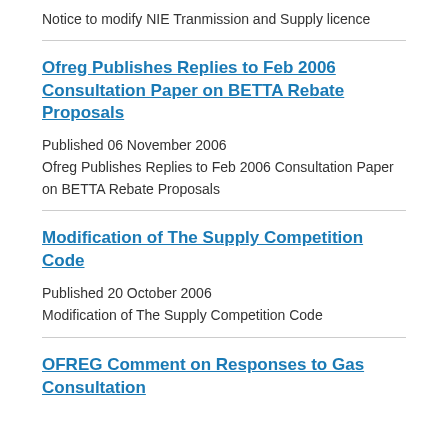Notice to modify NIE Tranmission and Supply licence
Ofreg Publishes Replies to Feb 2006 Consultation Paper on BETTA Rebate Proposals
Published 06 November 2006
Ofreg Publishes Replies to Feb 2006 Consultation Paper on BETTA Rebate Proposals
Modification of The Supply Competition Code
Published 20 October 2006
Modification of The Supply Competition Code
OFREG Comment on Responses to Gas Consultation